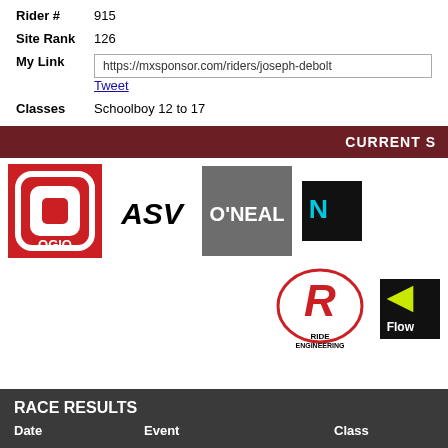| Rider # | 915 |
| Site Rank | 126 |
| My Link | https://mxsponsor.com/riders/joseph-debolt |
|  | Tweet |
| Classes | Schoolboy 12 to 17 |
CURRENT S
[Figure (logo): OGIO logo - red square with white CD/OGIO text]
[Figure (logo): ASV logo - black stylized text]
[Figure (logo): O'Neal logo - gray square with O'NEAL text]
[Figure (logo): Matrix logo - black rectangle partially visible with blue N]
[Figure (logo): Ride Engineering logo - R with Ride Engineering text]
[Figure (logo): Flow logo - black rectangle partially visible with yellow triangle]
RACE RESULTS
| Date | Event | Class |
| --- | --- | --- |